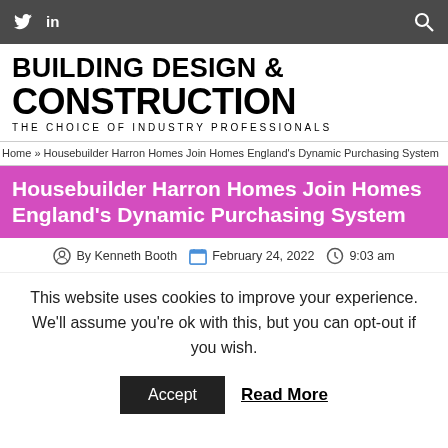Twitter LinkedIn Search
[Figure (logo): Building Design & Construction — The Choice of Industry Professionals logo]
Home » Housebuilder Harron Homes Join Homes England's Dynamic Purchasing System
Housebuilder Harron Homes Join Homes England's Dynamic Purchasing System
By Kenneth Booth   February 24, 2022   9:03 am
This website uses cookies to improve your experience. We'll assume you're ok with this, but you can opt-out if you wish.
Accept   Read More